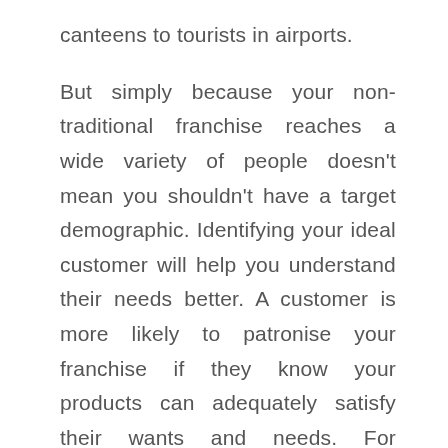canteens to tourists in airports.
But simply because your non-traditional franchise reaches a wide variety of people doesn't mean you shouldn't have a target demographic. Identifying your ideal customer will help you understand their needs better. A customer is more likely to patronise your franchise if they know your products can adequately satisfy their wants and needs. For example, it would make sense to open a pizza franchise in an area populated by students. Pizza is a popular snack among students who need an easy and portable meal.